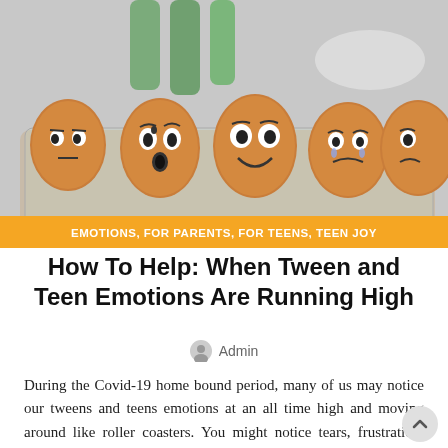[Figure (photo): Photo of brown eggs in a transparent egg carton, each egg has a different hand-drawn facial expression (surprised, confused, happy, sad, worried). Green bottles visible in background.]
EMOTIONS, FOR PARENTS, FOR TEENS, TEEN JOY
How To Help: When Tween and Teen Emotions Are Running High
Admin
During the Covid-19 home bound period, many of us may notice our tweens and teens emotions at an all time high and moving around like roller coasters. You might notice tears, frustration, yelling, down mood, isolating, and so on. This is partly due to the state of